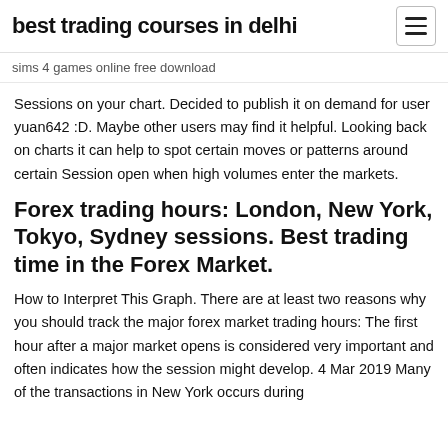best trading courses in delhi
sims 4 games online free download
Sessions on your chart. Decided to publish it on demand for user yuan642 :D. Maybe other users may find it helpful. Looking back on charts it can help to spot certain moves or patterns around certain Session open when high volumes enter the markets.
Forex trading hours: London, New York, Tokyo, Sydney sessions. Best trading time in the Forex Market.
How to Interpret This Graph. There are at least two reasons why you should track the major forex market trading hours: The first hour after a major market opens is considered very important and often indicates how the session might develop. 4 Mar 2019 Many of the transactions in New York occurs during